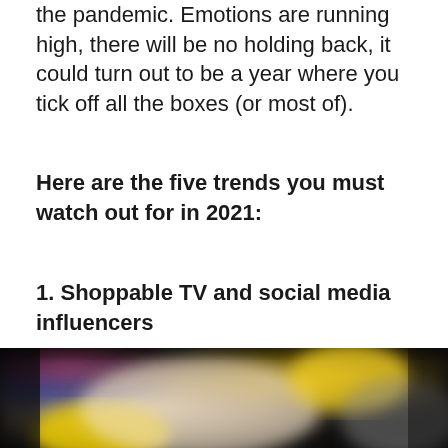the pandemic. Emotions are running high, there will be no holding back, it could turn out to be a year where you tick off all the boxes (or most of).
Here are the five trends you must watch out for in 2021:
1. Shoppable TV and social media influencers
[Figure (photo): Blurred image showing a television or screen with colorful content, including yellow and blue blurred shapes on a dark background.]